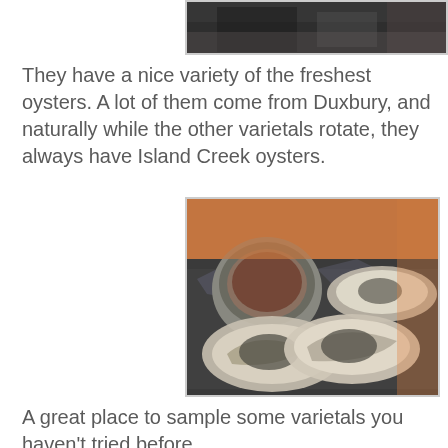[Figure (photo): Top portion of a restaurant/bar scene photo, partially cropped]
They have a nice variety of the freshest oysters. A lot of them come from Duxbury, and naturally while the other varietals rotate, they always have Island Creek oysters.
[Figure (photo): A plate of fresh oysters on ice with a small bowl of mignonette sauce, served on a metal tray]
A great place to sample some varietals you haven't tried before.
[Figure (photo): Bottom photo showing bread and restaurant items, partially cropped]